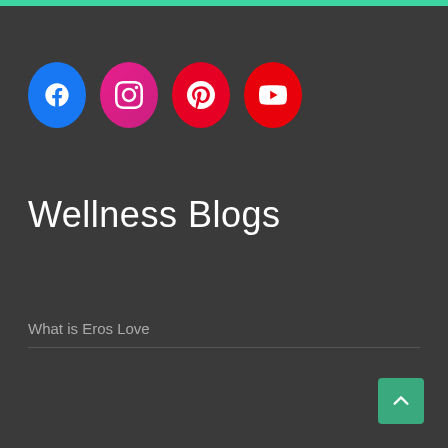[Figure (illustration): Social media icons row: Facebook (blue oval), Instagram (pink/magenta oval), Pinterest (red oval), YouTube (red oval)]
Wellness Blogs
What is Eros Love
[Figure (other): Scroll-to-top button: green square with upward chevron arrow in bottom right corner]